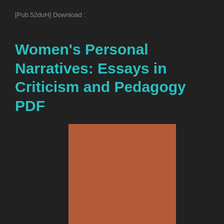[Pub.52duH] Download :
Women's Personal Narratives: Essays in Criticism and Pedagogy PDF
[Figure (photo): Book cover image showing a plain terracotta/burnt orange colored cover with fabric-like texture]